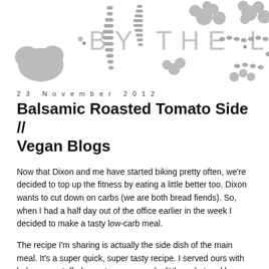[Figure (illustration): Decorative blog header banner with botanical/floral grey silhouette shapes and text '· BY THE LOCK·' in large spaced grey letters on a white background]
23 November 2012
Balsamic Roasted Tomato Side // Vegan Blogs
Now that Dixon and me have started biking pretty often, we're decided to top up the fitness by eating a little better too. Dixon wants to cut down on carbs (we are both bread fiends). So, when I had a half day out of the office earlier in the week I decided to make a tasty low-carb meal.
The recipe I'm sharing is actually the side dish of the main meal. It's a super quick, super tasty recipe. I served ours with bolognese stuffed sweet peppers and a little rocket and bean sprout salad. You could use it as an accompaniment to any